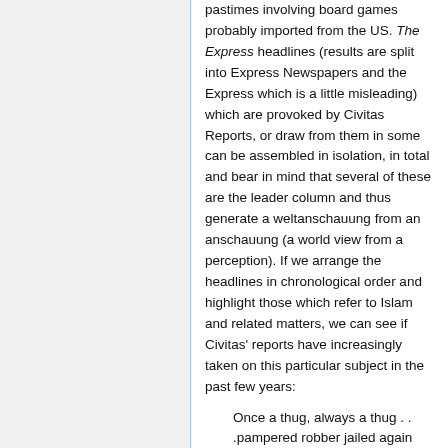pastimes involving board games probably imported from the US. The Express headlines (results are split into Express Newspapers and the Express which is a little misleading) which are provoked by Civitas Reports, or draw from them in some can be assembled in isolation, in total and bear in mind that several of these are the leader column and thus generate a weltanschauung from an anschauung (a world view from a perception). If we arrange the headlines in chronological order and highlight those which refer to Islam and related matters, we can see if Civitas' reports have increasingly taken on this particular subject in the past few years:
Once a thug, always a thug . . .pampered robber jailed again
I want to give out harsher sentences